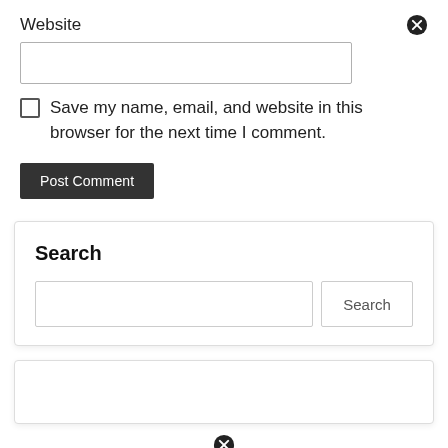Website
[Figure (other): Close/cancel icon (black circle with X)]
[Figure (other): Text input field for website URL]
Save my name, email, and website in this browser for the next time I comment.
[Figure (other): Post Comment button]
Search
[Figure (other): Search input field with Search button]
[Figure (other): Empty widget box]
[Figure (other): Close/cancel icon (black circle with X) at bottom]